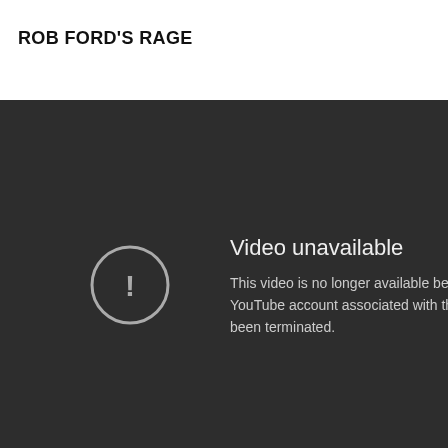ROB FORD'S RAGE
[Figure (screenshot): YouTube 'Video unavailable' error screen on a dark background. Shows a circle with exclamation mark icon and text: 'Video unavailable. This video is no longer available because the YouTube account associated with this video has been terminated.']